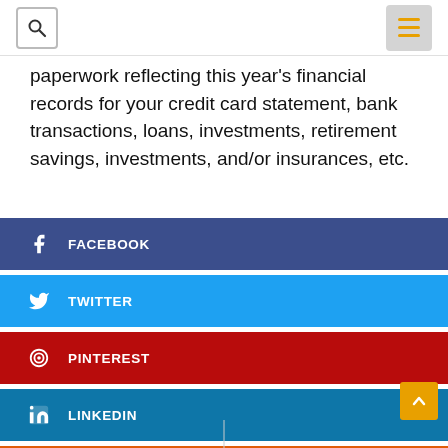[Search icon] [Menu icon]
paperwork reflecting this year's financial records for your credit card statement, bank transactions, loans, investments, retirement savings, investments, and/or insurances, etc.
FACEBOOK
TWITTER
PINTEREST
LINKEDIN
REDDIT